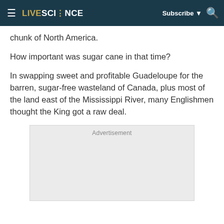LIVESCIENCE — Subscribe ▼ 🔍
chunk of North America.
How important was sugar cane in that time?
In swapping sweet and profitable Guadeloupe for the barren, sugar-free wasteland of Canada, plus most of the land east of the Mississippi River, many Englishmen thought the King got a raw deal.
[Figure (other): Advertisement placeholder box with light gray background]